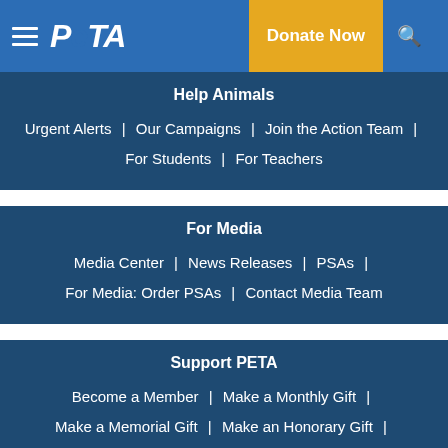PETA | Donate Now
Help Animals
Urgent Alerts | Our Campaigns | Join the Action Team | For Students | For Teachers
For Media
Media Center | News Releases | PSAs | For Media: Order PSAs | Contact Media Team
Support PETA
Become a Member | Make a Monthly Gift | Make a Memorial Gift | Make an Honorary Gift | Make a Stock Gift | Your Legacy for Animals | What Is the Vanguard Society? | Membership Services | Gift Memberships | More Ways